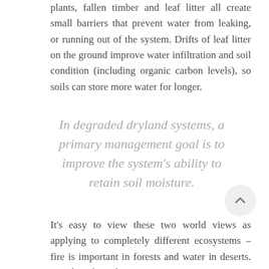plants, fallen timber and leaf litter all create small barriers that prevent water from leaking, or running out of the system. Drifts of leaf litter on the ground improve water infiltration and soil condition (including organic carbon levels), so soils can store more water for longer.
In degraded dryland systems, a primary management goal is to improve the system's ability to retain soil moisture.
It's easy to view these two world views as applying to completely different ecosystems – fire is important in forests and water in deserts. But sharp boundaries are